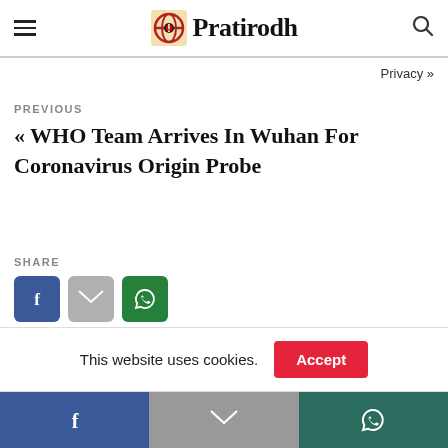Pratirodh
Privacy »
PREVIOUS
« WHO Team Arrives In Wuhan For Coronavirus Origin Probe
SHARE
This website uses cookies. Accept